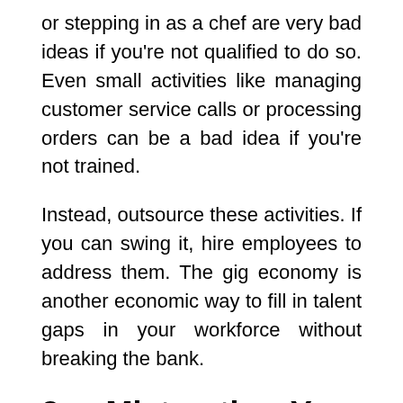or stepping in as a chef are very bad ideas if you're not qualified to do so. Even small activities like managing customer service calls or processing orders can be a bad idea if you're not trained.
Instead, outsource these activities. If you can swing it, hire employees to address them. The gig economy is another economic way to fill in talent gaps in your workforce without breaking the bank.
3.  Mistreating Your Internal Lifelines
As a small business owner, you're likely well aware of all of the threats to your business. From financial